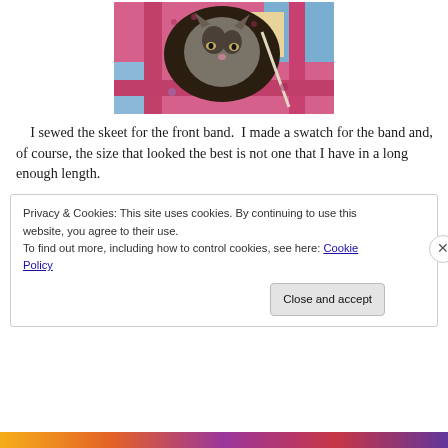[Figure (photo): A kitten nestled inside a colorful crocheted or knitted blanket/project in pinks, blues and yellows, viewed from above.]
I sewed the skeet for the front band.  I made a swatch for the band and, of course, the size that looked the best is not one that I have in a long enough length.
Privacy & Cookies: This site uses cookies. By continuing to use this website, you agree to their use.
To find out more, including how to control cookies, see here: Cookie Policy
Close and accept